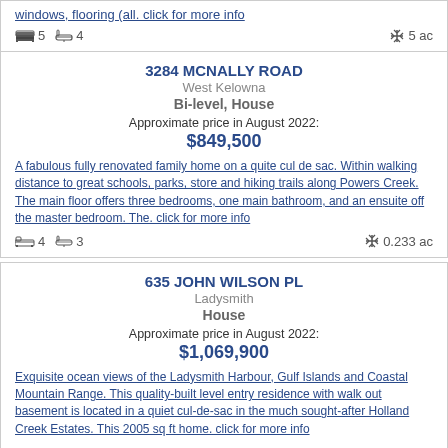windows, flooring (all. click for more info
5 beds  4 baths  5 ac
3284 MCNALLY ROAD
West Kelowna
Bi-level, House
Approximate price in August 2022:
$849,500
A fabulous fully renovated family home on a quite cul de sac. Within walking distance to great schools, parks, store and hiking trails along Powers Creek. The main floor offers three bedrooms, one main bathroom, and an ensuite off the master bedroom. The. click for more info
4 beds  3 baths  0.233 ac
635 JOHN WILSON PL
Ladysmith
House
Approximate price in August 2022:
$1,069,900
Exquisite ocean views of the Ladysmith Harbour, Gulf Islands and Coastal Mountain Range. This quality-built level entry residence with walk out basement is located in a quiet cul-de-sac in the much sought-after Holland Creek Estates. This 2005 sq ft home. click for more info